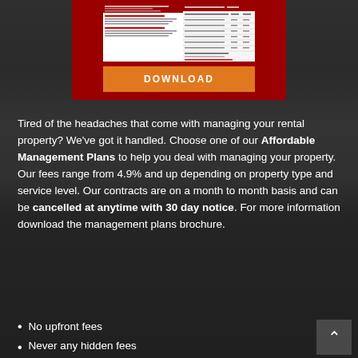[Figure (other): Red box containing a brochure document thumbnail and an orange DOWNLOAD button]
Tired of the headaches that come with managing your rental property? We've got it handled. Choose one of our Affordable Management Plans to help you deal with managing your property. Our fees range from 4.9% and up depending on property type and service level. Our contracts are on a month to month basis and can be cancelled at anytime with 30 day notice. For more information download the management plans brochure.
No upfront fees
Never any hidden fees